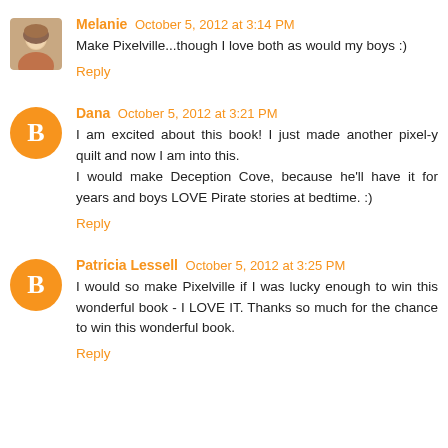Melanie  October 5, 2012 at 3:14 PM
Make Pixelville...though I love both as would my boys :)
Reply
Dana  October 5, 2012 at 3:21 PM
I am excited about this book! I just made another pixel-y quilt and now I am into this.
I would make Deception Cove, because he'll have it for years and boys LOVE Pirate stories at bedtime. :)
Reply
Patricia Lessell  October 5, 2012 at 3:25 PM
I would so make Pixelville if I was lucky enough to win this wonderful book - I LOVE IT. Thanks so much for the chance to win this wonderful book.
Reply